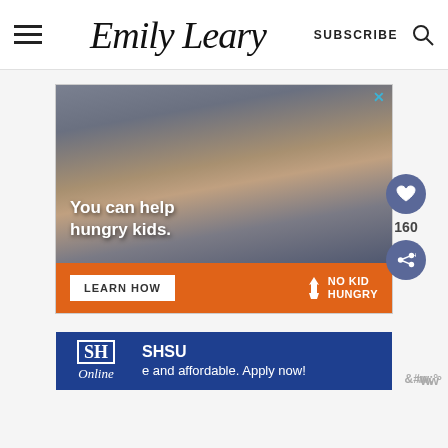Emily Leary — SUBSCRIBE
[Figure (photo): No Kid Hungry advertisement showing a young boy eating, with text 'You can help hungry kids.' and 'LEARN HOW' button and No Kid Hungry logo on orange background]
160
[Figure (photo): SHSU Online advertisement banner with text 'e and affordable. Apply now!']